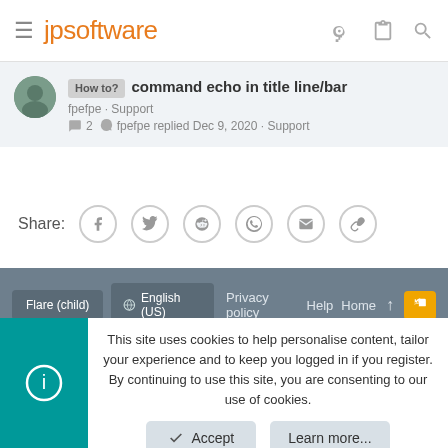jpsoftware
How to? command echo in title line/bar
fpefpe · Support
2 · fpefpe replied Dec 9, 2020 · Support
Share:
Flare (child) | English (US) | Privacy policy | Help | Home
Community platform by XenForo® © 2010-2021 XenForo Ltd.
This site uses cookies to help personalise content, tailor your experience and to keep you logged in if you register.
By continuing to use this site, you are consenting to our use of cookies.